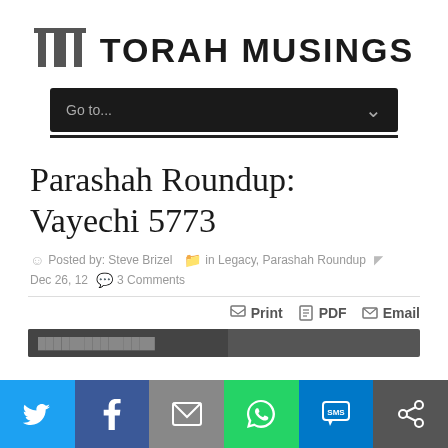TORAH MUSINGS
[Figure (screenshot): Navigation dropdown bar with 'Go to...' label and chevron arrow]
Parashah Roundup: Vayechi 5773
Posted by: Steve Brizel  in Legacy, Parashah Roundup  Dec 26, 12  3 Comments
Print  PDF  Email
[Figure (screenshot): Social sharing bar with Twitter, Facebook, Email, WhatsApp, SMS, and share buttons]